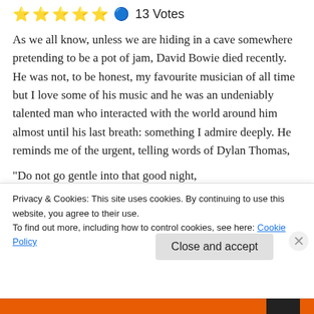⭐⭐⭐⭐⭐ 🔵 13 Votes
As we all know, unless we are hiding in a cave somewhere pretending to be a pot of jam, David Bowie died recently. He was not, to be honest, my favourite musician of all time but I love some of his music and he was an undeniably talented man who interacted with the world around him almost until his last breath: something I admire deeply. He reminds me of the urgent, telling words of Dylan Thomas,
“Do not go gentle into that good night,
Old age should burn and rave at close of day;
Privacy & Cookies: This site uses cookies. By continuing to use this website, you agree to their use.
To find out more, including how to control cookies, see here: Cookie Policy
Close and accept